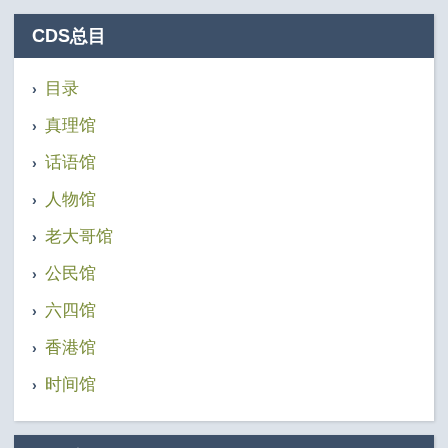CDS总目
目录
真理馆
话语馆
人物馆
老大哥馆
公民馆
六四馆
香港馆
时间馆
CDS专页
审查员交班日志（更新中）
中国罢墙（更新中）